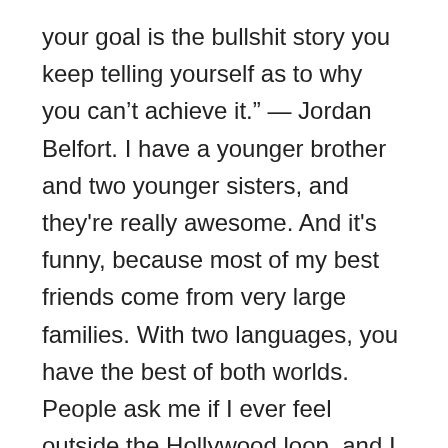your goal is the bullshit story you keep telling yourself as to why you can't achieve it." — Jordan Belfort. I have a younger brother and two younger sisters, and they're really awesome. And it's funny, because most of my best friends come from very large families. With two languages, you have the best of both worlds. People ask me if I ever feel outside the Hollywood loop, and I never do, because both of us do a lot of theatre, so it's great for New York and it's also half-way between Europe and the west coast, so it's the best of both worlds. My mother was a Shia Muslim, while my father was a janoi-clad man. I was pretty comfortable. Sabrina is still tossing up between the mortal